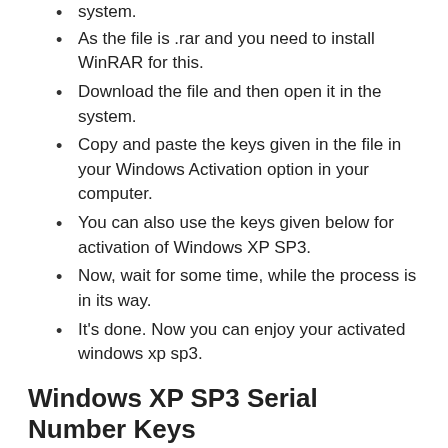system.
As the file is .rar and you need to install WinRAR for this.
Download the file and then open it in the system.
Copy and paste the keys given in the file in your Windows Activation option in your computer.
You can also use the keys given below for activation of Windows XP SP3.
Now, wait for some time, while the process is in its way.
It's done. Now you can enjoy your activated windows xp sp3.
Windows XP SP3 Serial Number Keys
Q3R8Y-MP9KD-3M6KB-383YB-7PK9Q
QB2BW-8PJ2D-9X7JK-BCCRT-D233Y
FCKGW-RHQQ2-YXRKT-8TG6W-2B7Q8
F6PGG-4YYDJ-3FF3T-R328P-3BXTG
FM9FY-TMF7Q-KCKCT-V9T29-TBBBG